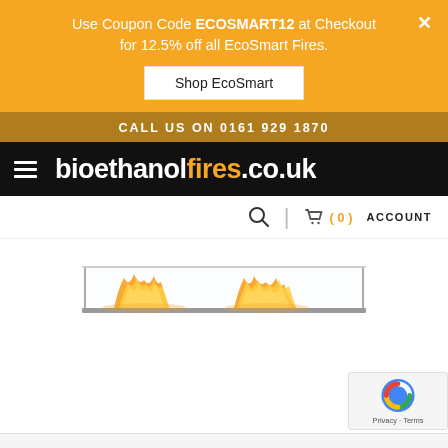Use Coupon Code ECOSMART12 at Checkout for 12.5% off all EcoSmart Fires.
Shop EcoSmart
CALL US ON 0161 929 1870
bioethanolfires.co.uk
[Figure (screenshot): Navigation toolbar with search icon, cart (0), and ACCOUNT link]
[Figure (photo): Fireplace burner showing flames through glass panel - FLEX 86IL product image]
FLEX 86IL
£7,995.00